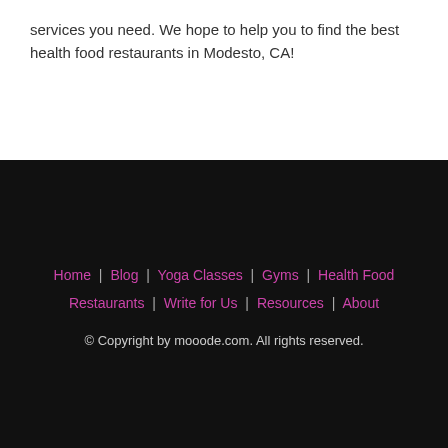services you need. We hope to help you to find the best health food restaurants in Modesto, CA!
Home | Blog | Yoga Classes | Gyms | Health Food Restaurants | Write for Us | Resources | About
© Copyright by mooode.com. All rights reserved.